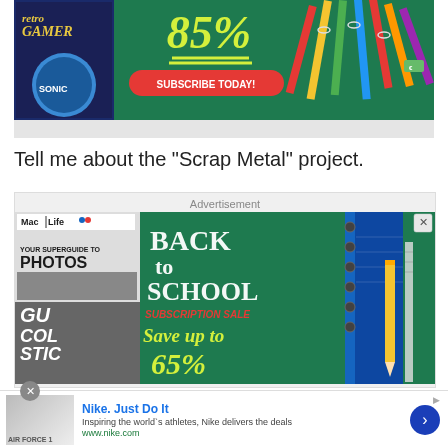[Figure (photo): Retro Gamer magazine subscription advertisement with green chalkboard background, school supplies, 85% off text in yellow, and a red Subscribe Today button]
Tell me about the "Scrap Metal" project.
[Figure (photo): Advertisement container with label 'Advertisement' and Mac Life Back to School Subscription Sale ad showing magazine covers, Save up to 65% text, notebook and pencil imagery]
[Figure (photo): Nike Just Do It bottom banner ad with thumbnail, text 'Inspiring the world's athletes, Nike delivers the deals', www.nike.com, and blue arrow button]